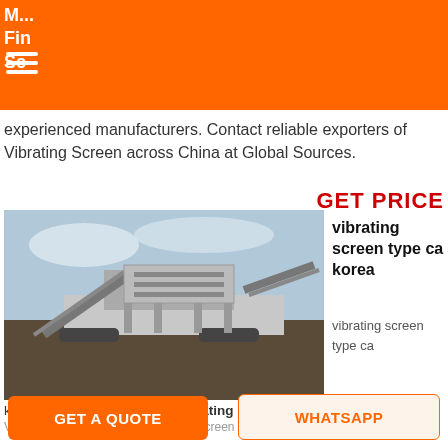M... Fine Screen / Vibrating Screen (partial, cut off at top)
experienced manufacturers. Contact reliable exporters of Vibrating Screen across China at Global Sources.
GET PRICE
vibrating screen type ca korea
vibrating screen type ca
[Figure (photo): Large industrial mobile vibrating screen / crusher machine on a construction or mining site, with conveyor belts, against a cloudy sky and dirt ground.]
korea_Rotating Drum ScreenRotating Drum Screen, Wholesale Various High Quality Rotating Drum Screen Products from Global
GET A QUOTE
WHATSAPP